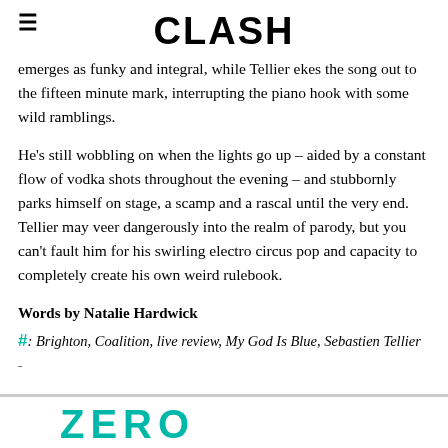CLASH
emerges as funky and integral, while Tellier ekes the song out to the fifteen minute mark, interrupting the piano hook with some wild ramblings.
He's still wobbling on when the lights go up – aided by a constant flow of vodka shots throughout the evening – and stubbornly parks himself on stage, a scamp and a rascal until the very end. Tellier may veer dangerously into the realm of parody, but you can't fault him for his swirling electro circus pop and capacity to completely create his own weird rulebook.
Words by Natalie Hardwick
#: Brighton, Coalition, live review, My God Is Blue, Sebastien Tellier
[Figure (other): Partial teal/cyan logo text visible at bottom of page]